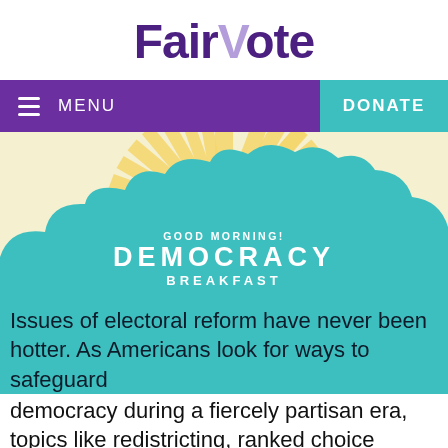[Figure (logo): FairVote logo in dark purple with a lighter purple V]
MENU   DONATE
[Figure (illustration): Sunshine rays with yellow and white radiating from behind a blue cloud shape, with text: GOOD MORNING! DEMOCRACY BREAKFAST]
Issues of electoral reform have never been hotter. As Americans look for ways to safeguard democracy during a fiercely partisan era, topics like redistricting, ranked choice voting, and strengthening our election infrastructure have